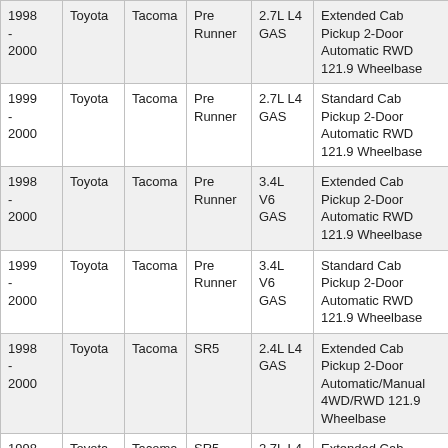| 1998 - 2000 | Toyota | Tacoma | Pre Runner | 2.7L L4 GAS | Extended Cab Pickup 2-Door Automatic RWD 121.9 Wheelbase |
| 1999 - 2000 | Toyota | Tacoma | Pre Runner | 2.7L L4 GAS | Standard Cab Pickup 2-Door Automatic RWD 121.9 Wheelbase |
| 1998 - 2000 | Toyota | Tacoma | Pre Runner | 3.4L V6 GAS | Extended Cab Pickup 2-Door Automatic RWD 121.9 Wheelbase |
| 1999 - 2000 | Toyota | Tacoma | Pre Runner | 3.4L V6 GAS | Standard Cab Pickup 2-Door Automatic RWD 121.9 Wheelbase |
| 1998 - 2000 | Toyota | Tacoma | SR5 | 2.4L L4 GAS | Extended Cab Pickup 2-Door Automatic/Manual 4WD/RWD 121.9 Wheelbase |
| 1998 - 2000 | Toyota | Tacoma | SR5 | 2.7L L4 GAS | Extended Cab Pickup 2-Door Automatic/Manual 4WD/RWD 121.9 Wheelbase |
| 1997 - 2000 | Toyota | Tacoma | SR5 | 3.4L V6 GAS | Extended Cab Pickup 2-Door Automatic/Manual |